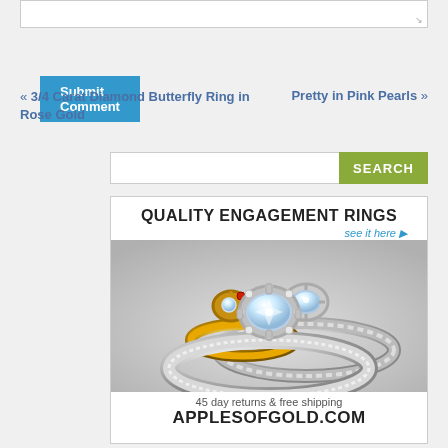[Figure (screenshot): Text area input box at top of page]
Submit Comment
« 3/4 Carat Diamond Butterfly Ring in Rose Gold
Pretty in Pink Pearls »
[Figure (screenshot): Search bar with SEARCH button]
[Figure (infographic): Advertisement banner for ApplesOfGold.com showing quality engagement rings with jewelry photos, 45 day returns and free shipping offer]